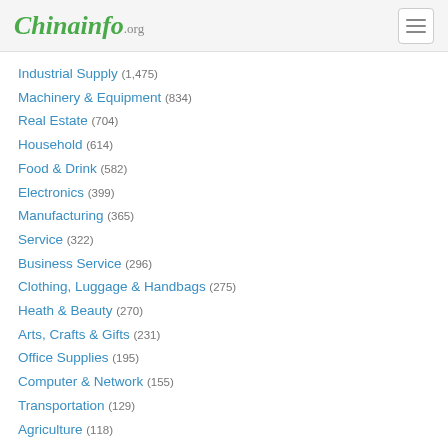Chinainfo.org
Industrial Supply (1,475)
Machinery & Equipment (834)
Real Estate (704)
Household (614)
Food & Drink (582)
Electronics (399)
Manufacturing (365)
Service (322)
Business Service (296)
Clothing, Luggage & Handbags (275)
Heath & Beauty (270)
Arts, Crafts & Gifts (231)
Office Supplies (195)
Computer & Network (155)
Transportation (129)
Agriculture (118)
Auto & Parts (117)
Shopping (109)
Energy (58)